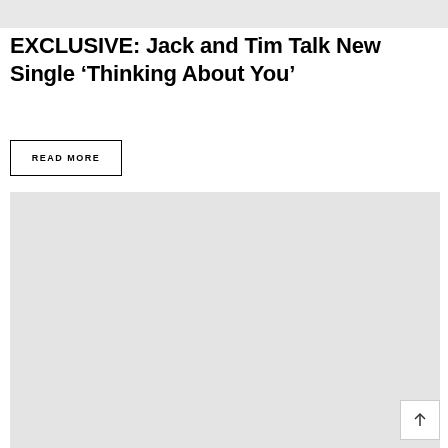[Figure (other): Gray placeholder image bar at the top of the page]
EXCLUSIVE: Jack and Tim Talk New Single ‘Thinking About You’
READ MORE
[Figure (other): Large gray placeholder image block]
[Figure (other): Back to top button with upward arrow icon]